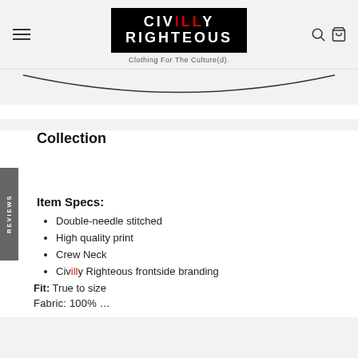[Figure (logo): Civilly Righteous logo — white text on black background. CIVILLY RIGHTEOUS in bold caps, with 'ILL' in red in CIVILLY. Tagline: Clothing For The Culture(d).]
Collection
Item Specs:
Double-needle stitched
High quality print
Crew Neck
Civilly Righteous frontside branding
Fit: True to size